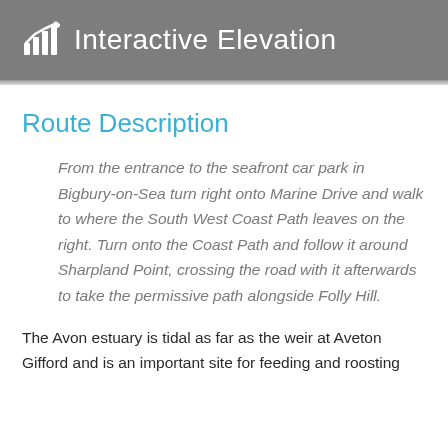Interactive Elevation
Route Description
From the entrance to the seafront car park in Bigbury-on-Sea turn right onto Marine Drive and walk to where the South West Coast Path leaves on the right. Turn onto the Coast Path and follow it around Sharpland Point, crossing the road with it afterwards to take the permissive path alongside Folly Hill.
The Avon estuary is tidal as far as the weir at Aveton Gifford and is an important site for feeding and roosting